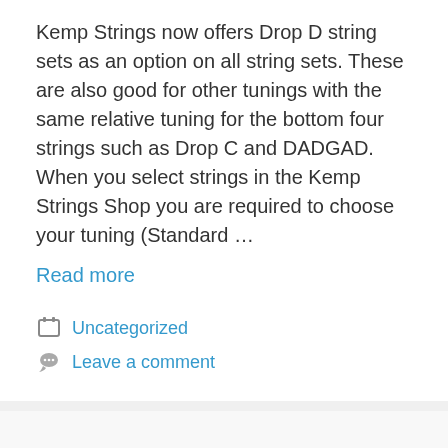Kemp Strings now offers Drop D string sets as an option on all string sets. These are also good for other tunings with the same relative tuning for the bottom four strings such as Drop C and DADGAD. When you select strings in the Kemp Strings Shop you are required to choose your tuning (Standard …
Read more
Uncategorized
Leave a comment
Intonation versus sensitivity to bending